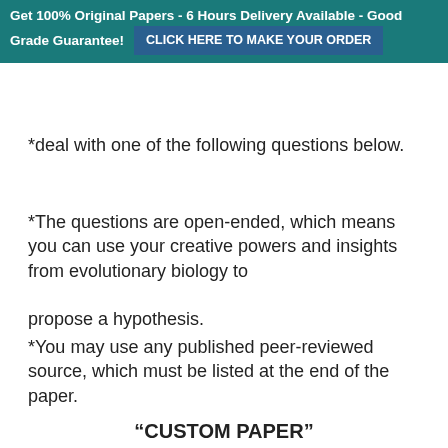Get 100% Original Papers - 6 Hours Delivery Available - Good Grade Guarantee! CLICK HERE TO MAKE YOUR ORDER
*deal with one of the following questions below.
*The questions are open-ended, which means you can use your creative powers and insights from evolutionary biology to propose a hypothesis.
*You may use any published peer-reviewed source, which must be listed at the end of the paper.
“CUSTOM PAPER”